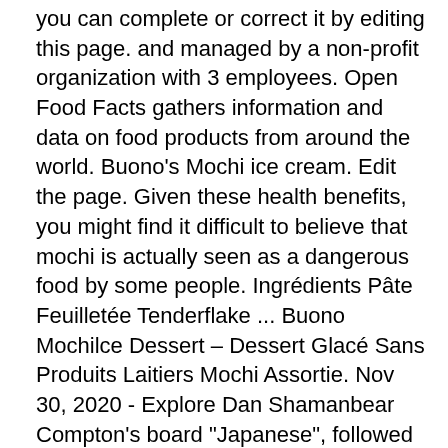you can complete or correct it by editing this page. and managed by a non-profit organization with 3 employees. Open Food Facts gathers information and data on food products from around the world. Buono's Mochi ice cream. Edit the page. Given these health benefits, you might find it difficult to believe that mochi is actually seen as a dangerous food by some people. Ingrédients Pâte Feuilletée Tenderflake ... Buono Mochilce Dessert – Dessert Glacé Sans Produits Laitiers Mochi Assortie. Nov 30, 2020 - Explore Dan Shamanbear Compton's board "Japanese", followed by 412 people on Pinterest. Ingrédients Mochi Japonais Royal Family : Les ingrédients des Mochi Japonais Royal Family sont ceux indiqués sur l'emballage : Maltose, Sucre, Riz Gluant, Amidon, Huile Végétale, Pâte de Haricot Rouge, Pâte d'Arachide, Pâte de Sésames, Arachide, Sésames, Arôme, Acide Ascorbique. 473 likes. Prix. Available in many